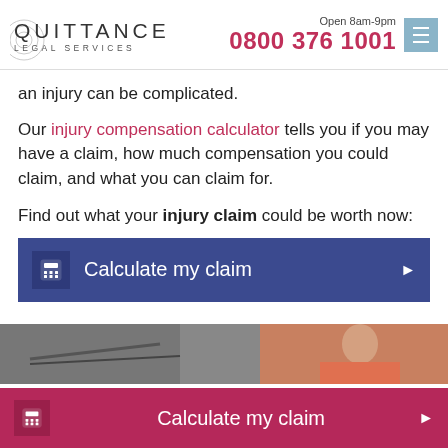QUITTANCE LEGAL SERVICES | Open 8am-9pm | 0800 376 1001
an injury can be complicated.
Our injury compensation calculator tells you if you may have a claim, how much compensation you could claim, and what you can claim for.
Find out what your injury claim could be worth now:
[Figure (infographic): Dark blue button with calculator icon and text 'Calculate my claim' with right arrow]
[Figure (photo): Partial photo showing car accident scene and person]
[Figure (infographic): Pink/magenta button with calculator icon and text 'Calculate my claim' with right arrow at bottom of page]